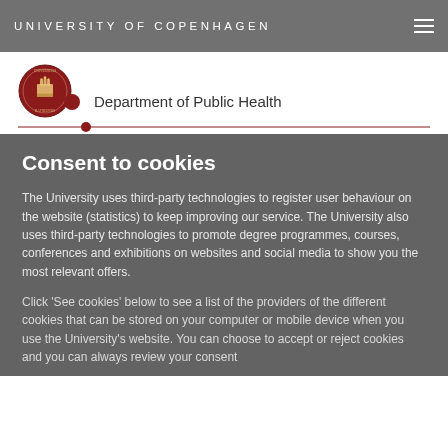UNIVERSITY OF COPENHAGEN
[Figure (logo): University of Copenhagen circular red seal/crest logo with Department of Public Health text]
Consent to cookies
The University uses third-party technologies to register user behaviour on the website (statistics) to keep improving our service. The University also uses third-party technologies to promote degree programmes, courses, conferences and exhibitions on websites and social media to show you the most relevant offers.
Click 'See cookies' below to see a list of the providers of the different cookies that can be stored on your computer or mobile device when you use the University's website. You can choose to accept or reject cookies and you can always review your consent